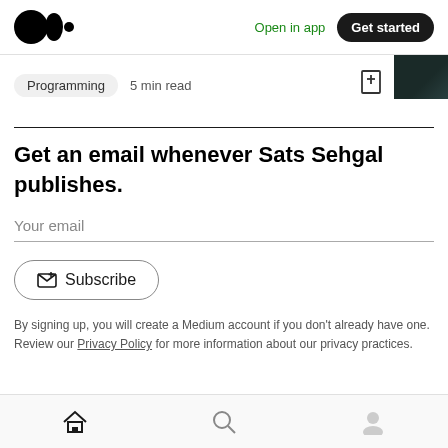Medium logo | Open in app | Get started
Programming  5 min read
Get an email whenever Sats Sehgal publishes.
Your email
Subscribe
By signing up, you will create a Medium account if you don't already have one. Review our Privacy Policy for more information about our privacy practices.
Home | Search | Profile